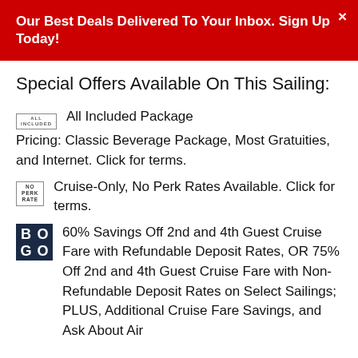Our Best Deals Delivered To Your Inbox. Sign Up Today!
Special Offers Available On This Sailing:
All Included Package Pricing: Classic Beverage Package, Most Gratuities, and Internet. Click for terms.
Cruise-Only, No Perk Rates Available. Click for terms.
60% Savings Off 2nd and 4th Guest Cruise Fare with Refundable Deposit Rates, OR 75% Off 2nd and 4th Guest Cruise Fare with Non-Refundable Deposit Rates on Select Sailings; PLUS, Additional Cruise Fare Savings, and Ask About Air